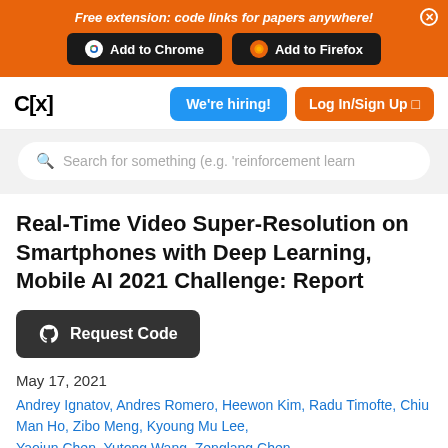Free extension: code links for papers anywhere!
Real-Time Video Super-Resolution on Smartphones with Deep Learning, Mobile AI 2021 Challenge: Report
May 17, 2021
Andrey Ignatov, Andres Romero, Heewon Kim, Radu Timofte, Chiu Man Ho, Zibo Meng, Kyoung Mu Lee, Xueyi Ren, Yutong Wang, Zenglong Chen ...